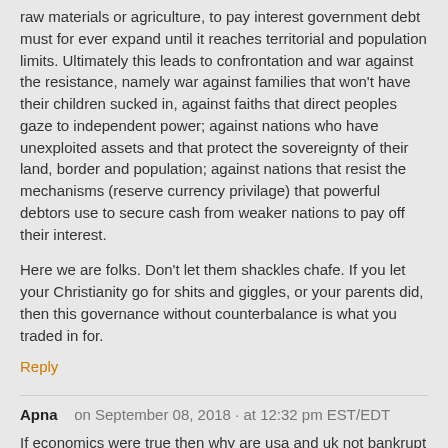raw materials or agriculture, to pay interest government debt must for ever expand until it reaches territorial and population limits. Ultimately this leads to confrontation and war against the resistance, namely war against families that won't have their children sucked in, against faiths that direct peoples gaze to independent power; against nations who have unexploited assets and that protect the sovereignty of their land, border and population; against nations that resist the mechanisms (reserve currency privilage) that powerful debtors use to secure cash from weaker nations to pay off their interest.
Here we are folks. Don't let them shackles chafe. If you let your Christianity go for shits and giggles, or your parents did, then this governance without counterbalance is what you traded in for.
Reply
Apna   on September 08, 2018  ·  at 12:32 pm EST/EDT
If economics were true then why are usa and uk not bankrupt for last 25 years when these bankrupt countries print money at rate of 86 billions folkar a month fir last 10 years.?